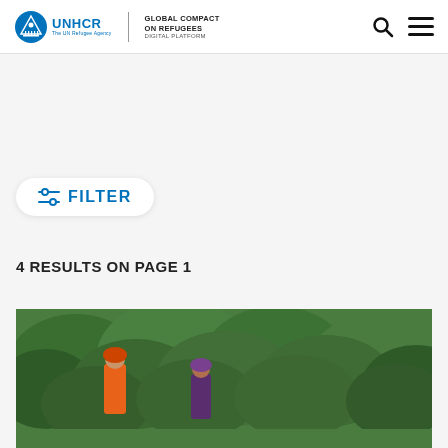UNHCR | GLOBAL COMPACT ON REFUGEES | DIGITAL PLATFORM
FILTER
4 RESULTS ON PAGE 1
[Figure (photo): Two people standing in front of dense green vegetation/bushes, one wearing an orange garment and headscarf]